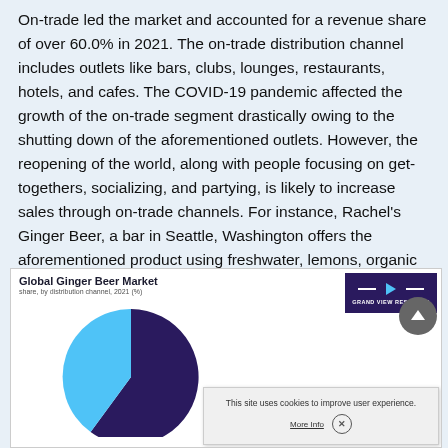On-trade led the market and accounted for a revenue share of over 60.0% in 2021. The on-trade distribution channel includes outlets like bars, clubs, lounges, restaurants, hotels, and cafes. The COVID-19 pandemic affected the growth of the on-trade segment drastically owing to the shutting down of the aforementioned outlets. However, the reopening of the world, along with people focusing on get-togethers, socializing, and partying, is likely to increase sales through on-trade channels. For instance, Rachel's Ginger Beer, a bar in Seattle, Washington offers the aforementioned product using freshwater, lemons, organic sugar, and ginger.
[Figure (pie-chart): Pie chart showing share by distribution channel, 2021 (%). Large dark purple slice (~60%) and light blue slice (~40%) visible. Partially cut off at bottom of page.]
This site uses cookies to improve user experience.
More Info